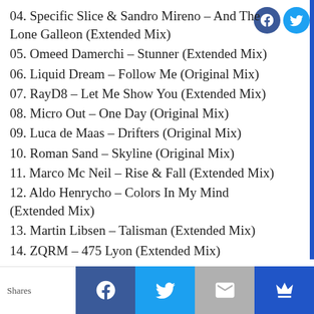04. Specific Slice & Sandro Mireno – And The Lone Galleon (Extended Mix)
05. Omeed Damerchi – Stunner (Extended Mix)
06. Liquid Dream – Follow Me (Original Mix)
07. RayD8 – Let Me Show You (Extended Mix)
08. Micro Out – One Day (Original Mix)
09. Luca de Maas – Drifters (Original Mix)
10. Roman Sand – Skyline (Original Mix)
11. Marco Mc Neil – Rise & Fall (Extended Mix)
12. Aldo Henrycho – Colors In My Mind (Extended Mix)
13. Martin Libsen – Talisman (Extended Mix)
14. ZQRM – 475 Lyon (Extended Mix)
Shares